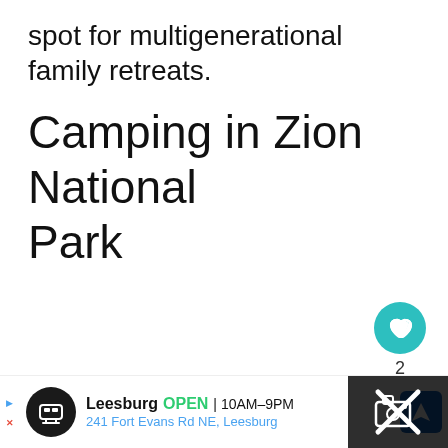spot for multigenerational family retreats.
Camping in Zion National Park
[Figure (other): Heart/like button (teal circle with heart icon), like count '2', and share button (white circle with share icon)]
[Figure (other): What's Next card showing a thumbnail of a forest path, label 'WHAT'S NEXT →', and text 'The Ultimate Guide to...']
[Figure (other): Advertisement bar: Leesburg store, OPEN 10AM-9PM, 241 Fort Evans Rd NE Leesburg, with navigation icon and dark overlay on right]